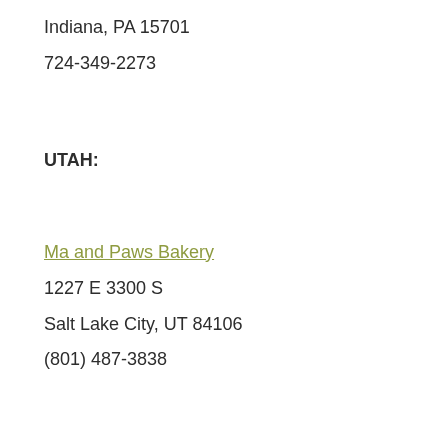Indiana, PA 15701
724-349-2273
UTAH:
Ma and Paws Bakery
1227 E 3300 S
Salt Lake City, UT 84106
(801) 487-3838